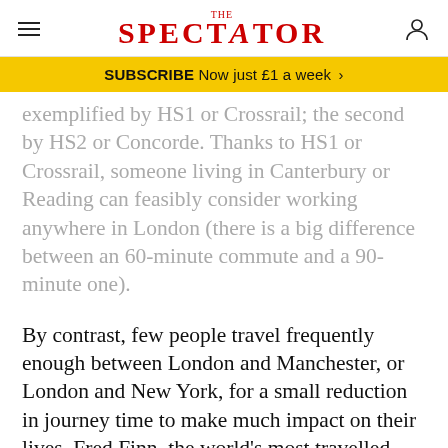THE SPECTATOR
SUBSCRIBE Now just £1 a week >
exemplified by HS1 or Crossrail; the second by HS2 or Concorde. Thanks to HS1 or Crossrail, someone living in Canterbury or Reading can feasibly consider working anywhere in London (there is a big difference between an 60-minute commute and a 90-minute one).
By contrast, few people travel frequently enough between London and Manchester, or London and New York, for a small reduction in journey time to make much impact on their lives. Fred Finn, the world's most travelled man, made a record 718 trips